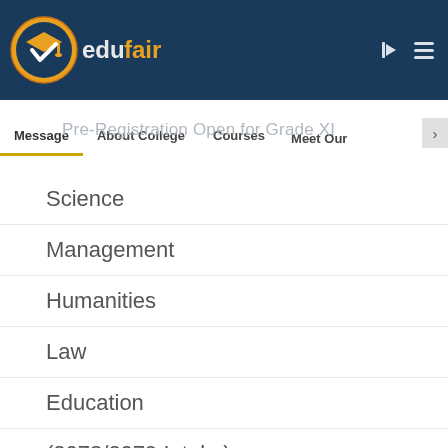[Figure (logo): EduFair logo — circular icon with graduation cap and checkmark, yellow and teal, with text 'edufair' in white on dark navy background]
Message | About College | Courses | Meet Our
Pre-Registration Open for Grade XI
Science
Management
Humanities
Law
Education
(2078/2079 Intake)